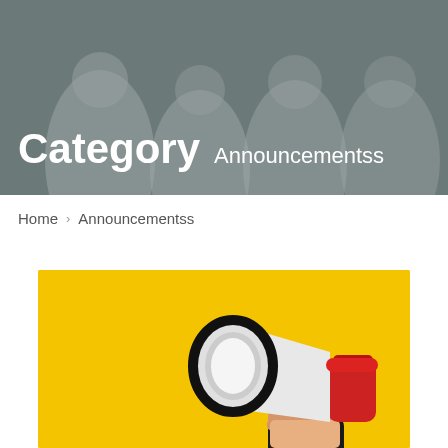[Figure (photo): Hero banner with blurred medical professionals in white coats on a dark overlay background]
Category  Announcementss
Home  >  Announcementss
[Figure (photo): A hand holding a white and red megaphone against a bright yellow background]